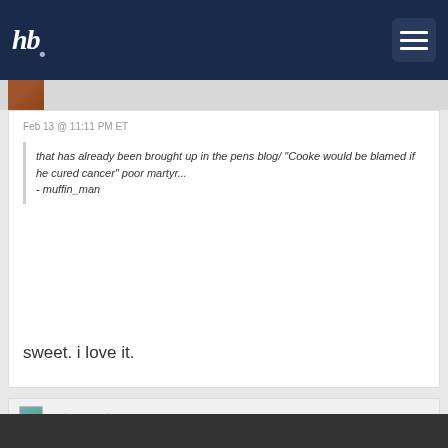hb. [logo] with hamburger menu button
Feb 13 @ 11:11 PM ET
that has already been brought up in the pens blog/ "Cooke would be blamed if he cured cancer" poor martyr... - muffin_man
sweet. i love it.
watsonnostaw
Feb 13 @ 11:13 PM ET
can't wait for their defense of Cooke, the same fan base that believes PK cut Jordan Staal on purpose.